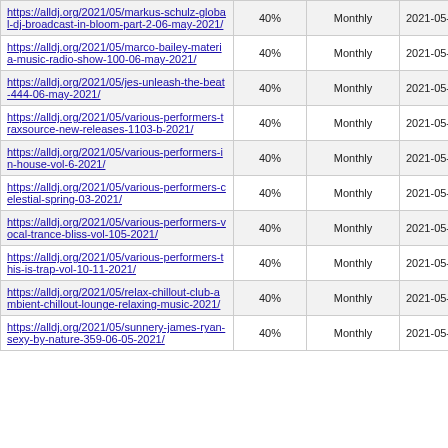| URL | Priority | Change Freq | Last Modified |
| --- | --- | --- | --- |
| https://alldj.org/2021/05/markus-schulz-global-dj-broadcast-in-bloom-part-2-06-may-2021/ | 40% | Monthly | 2021-05-07 05:23 |
| https://alldj.org/2021/05/marco-bailey-materia-music-radio-show-100-06-may-2021/ | 40% | Monthly | 2021-05-07 05:23 |
| https://alldj.org/2021/05/jes-unleash-the-beat-444-06-may-2021/ | 40% | Monthly | 2021-05-07 05:22 |
| https://alldj.org/2021/05/various-performers-traxsource-new-releases-1103-b-2021/ | 40% | Monthly | 2021-05-06 15:44 |
| https://alldj.org/2021/05/various-performers-in-house-vol-6-2021/ | 40% | Monthly | 2021-05-06 15:43 |
| https://alldj.org/2021/05/various-performers-celestial-spring-03-2021/ | 40% | Monthly | 2021-05-06 15:43 |
| https://alldj.org/2021/05/various-performers-vocal-trance-bliss-vol-105-2021/ | 40% | Monthly | 2021-05-06 15:42 |
| https://alldj.org/2021/05/various-performers-this-is-trap-vol-10-11-2021/ | 40% | Monthly | 2021-05-06 15:41 |
| https://alldj.org/2021/05/relax-chillout-club-ambient-chillout-lounge-relaxing-music-2021/ | 40% | Monthly | 2021-05-06 15:40 |
| https://alldj.org/2021/05/sunnery-james-ryan-sexy-by-nature-359-06-05-2021/ | 40% | Monthly | 2021-05-06 15:39 |